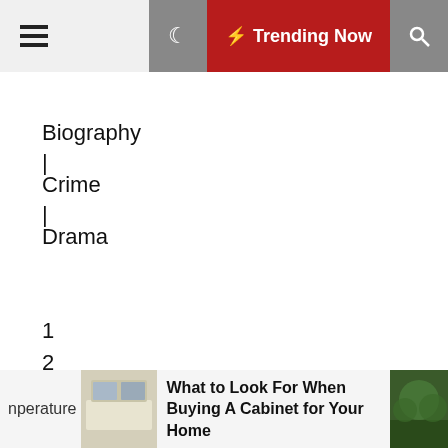≡  🌙  ⚡ Trending Now  🔍
Biography
|
Crime
|
Drama
1
2
3
4
5
6
nperature  What to Look For When Buying A Cabinet for Your Home